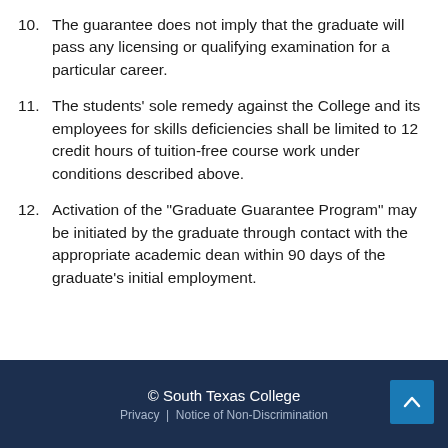10. The guarantee does not imply that the graduate will pass any licensing or qualifying examination for a particular career.
11. The students' sole remedy against the College and its employees for skills deficiencies shall be limited to 12 credit hours of tuition-free course work under conditions described above.
12. Activation of the "Graduate Guarantee Program" may be initiated by the graduate through contact with the appropriate academic dean within 90 days of the graduate's initial employment.
© South Texas College
Privacy | Notice of Non-Discrimination